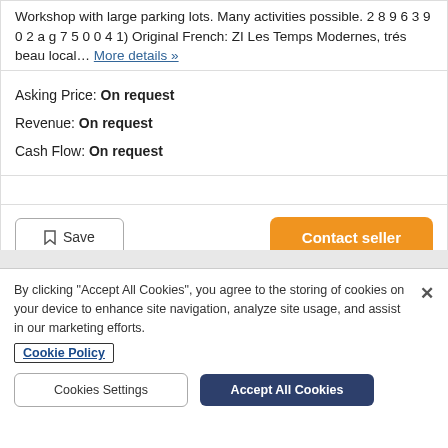Workshop with large parking lots. Many activities possible. 2 8 9 6 3 9 0 2 a g 7 5 0 0 4 1) Original French: ZI Les Temps Modernes, trés beau local… More details »
Asking Price: On request
Revenue: On request
Cash Flow: On request
Save | Contact seller
By clicking "Accept All Cookies", you agree to the storing of cookies on your device to enhance site navigation, analyze site usage, and assist in our marketing efforts.
Cookie Policy
Cookies Settings | Accept All Cookies